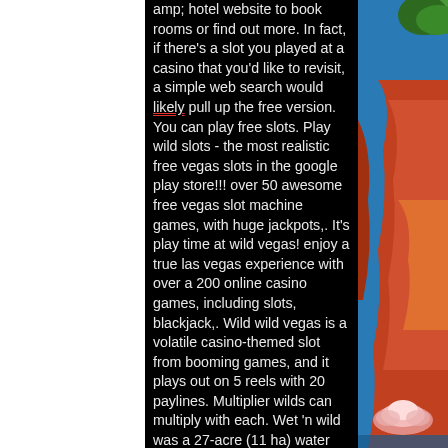amp; hotel website to book rooms or find out more. In fact, if there's a slot you played at a casino that you'd like to revisit, a simple web search would likely pull up the free version. You can play free slots. Play wild slots - the most realistic free vegas slots in the google play store!!! over 50 awesome free vegas slot machine games, with huge jackpots,. It's play time at wild vegas! enjoy a true las vegas experience with over a 200 online casino games, including slots, blackjack,. Wild wild vegas is a volatile casino-themed slot from booming games, and it plays out on 5 reels with 20 paylines. Multiplier wilds can multiply with each. Wet 'n wild was a 27-acre (11 ha) water park located at 2601 south las vegas boulevard on the las vegas strip in winchester, nevada. The $14 million water. Play a huge range of slots at harrahscasino. Chance to enjoy the real thing, even when you're not in las vegas or atlantic city. Yet this is a normal business
[Figure (photo): Decorative image on the right side showing a colorful illustration with blue background, red/orange drapery, green leaves, and a lotus flower at the bottom]